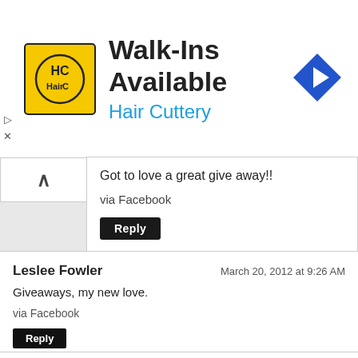[Figure (other): Hair Cuttery advertisement banner with yellow HC logo, text 'Walk-Ins Available' and 'Hair Cuttery' in blue, and a blue diamond-shaped direction arrow icon on the right]
Got to love a great give away!!

via Facebook
Reply
Leslee Fowler
March 20, 2012 at 9:26 AM
Giveaways, my new love.

via Facebook
Reply
Lu-C Lieseman
March 20, 2012 at 9:27 AM
Bead Addiction??? Never, it's merely an acquisition imperative for the jewelry designs that are battling for supremacy in our minds!